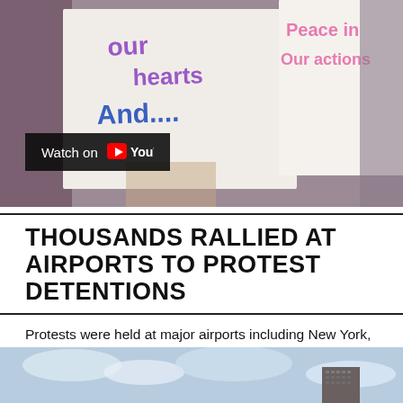[Figure (photo): Protesters holding handwritten signs reading 'our hearts And....' and 'Peace in Our actions' with a YouTube watch overlay button]
THOUSANDS RALLIED AT AIRPORTS TO PROTEST DETENTIONS
Protests were held at major airports including New York, Chicago, San Francisco, Los Angeles, Seattle, Dallas, Denver, Boston and outside Washington, D.C. As lawyers sought a federal injunction against the detentions, police tried to stop protesters from entering the Air train to Kennedy.  New York governor Andrew Cuomo ordered the transit system to allow all people on the trains to the airport. A federal judge blocked the deportation of all detainees.  The court ruling was overturned
[Figure (photo): Bottom partial photo showing a cloudy sky and what appears to be a building or tower in the distance]